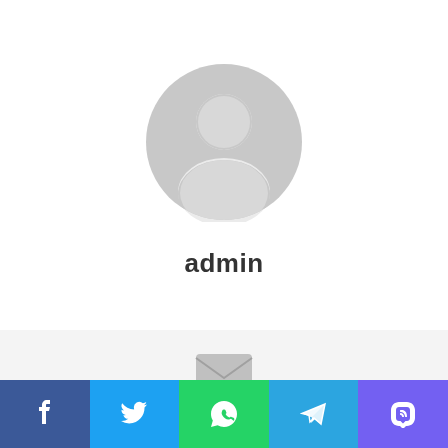[Figure (illustration): Generic user avatar: grey circle with silhouette of a person (head and shoulders)]
admin
[Figure (illustration): Grey envelope icon representing email/mailing]
With Product You Purchase
Subscribe to our mailing
[Figure (other): Social media share bar with five buttons: Facebook (blue), Twitter (light blue), WhatsApp (green), Telegram (blue), Viber (purple)]